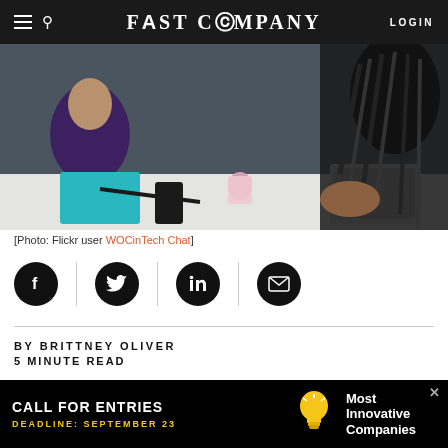FAST COMPANY
[Figure (photo): People sitting around a conference table working, viewed from above/side angle. A woman with long braids is visible in the foreground.]
[Photo: Flickr user WOCinTech Chat]
[Figure (infographic): Social sharing icons row: Facebook, Twitter, LinkedIn, Email — black circles with white icons separated by vertical dividers]
BY BRITTNEY OLIVER
5 MINUTE READ
Black Americans have a higher unemployment rate
[Figure (infographic): Advertisement banner: CALL FOR ENTRIES - DEADLINE: SEPTEMBER 23 - Most Innovative Companies, with lightbulb icon]